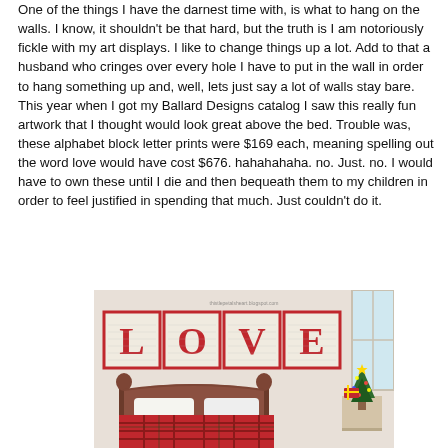One of the things I have the darnest time with, is what to hang on the walls. I know, it shouldn't be that hard, but the truth is I am notoriously fickle with my art displays.  I like to change things up a lot. Add to that a husband who cringes over every hole I have to put in the wall in order to hang something up and, well, lets just say a lot of walls stay bare. This year when I got my Ballard Designs catalog I saw this really fun artwork that I thought would look great above the bed.  Trouble was, these alphabet block letter prints were $169 each, meaning spelling out the word love would have cost $676.  hahahahaha. no.  Just. no.  I would have to own these until I die and then bequeath them to my children in order to feel justified in spending that much. Just couldn't do it.
[Figure (photo): Bedroom photo showing four framed alphabet block letter prints spelling LOVE mounted on the wall above a wooden headboard bed. The frames have red borders with the large red letters L, O, V, E on a distressed/vintage background. The bed has plaid bedding. A small Christmas tree is visible on the right side.]